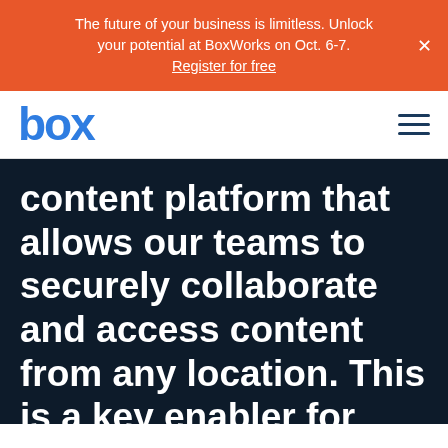The future of your business is limitless. Unlock your potential at BoxWorks on Oct. 6-7. Register for free
[Figure (logo): Box company logo in blue text]
content platform that allows our teams to securely collaborate and access content from any location. This is a key enabler for supporting remote work to ensure smooth business